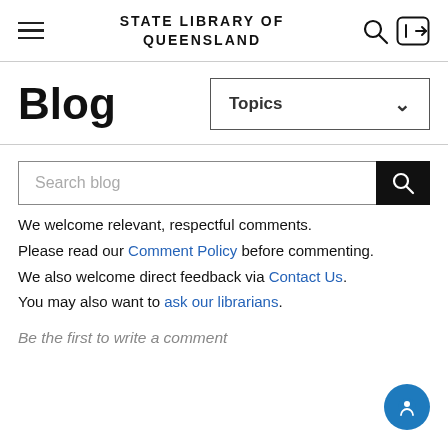STATE LIBRARY OF QUEENSLAND
Blog
Topics
Search blog
We welcome relevant, respectful comments. Please read our Comment Policy before commenting. We also welcome direct feedback via Contact Us. You may also want to ask our librarians.
Be the first to write a comment